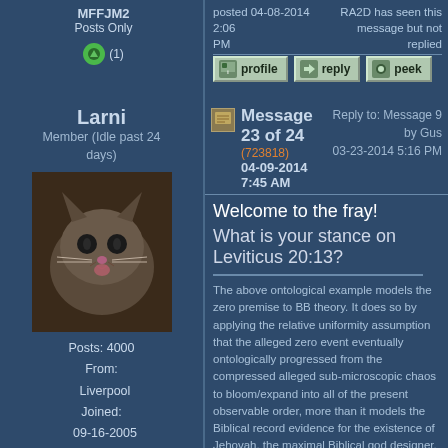MFFJM2 Posts Only
(1)
posted 04-08-2014 2:06 PM
RA2D has seen this message but not replied
profile   reply   peek
Larni
Member (Idle past 24 days)
Message 23 of 24
(723818)
04-09-2014 7:45 AM
Reply to: Message 9 by Gus
03-23-2014 5:16 PM
[Figure (photo): Avatar image of a cat]
Welcome to the fray!
What is your stance on Leviticus 20:13?
The above ontological example models the zero premise to BB theory. It does so by applying the relative uniformity assumption that the alleged zero event eventually ontologically progressed from the compressed alleged sub-microscopic chaos to bloom/expand into all of the present observable order, more than it models the Biblical record evidence for the existence of Jehovah, the maximal Biblical god designer.
-Attributed to Buzsaw Message 53
The explain to them any scientific investigation that explains the existence of things qualifies as science and as an explanation
-Attributed to Dawn Bertot Message 286
Posts: 4000
From: Liverpool
Joined: 09-16-2005
Larni Posts Only